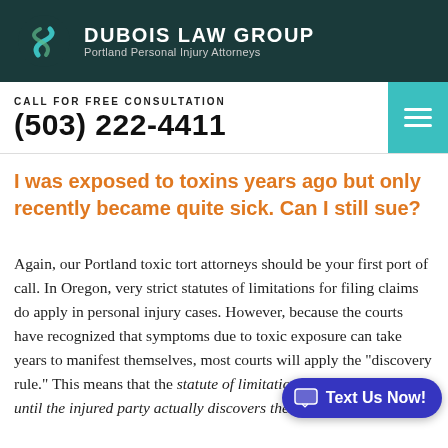DUBOIS LAW GROUP — Portland Personal Injury Attorneys
CALL FOR FREE CONSULTATION
(503) 222-4411
I was exposed to toxins years ago but only recently became quite sick. Can I still sue?
Again, our Portland toxic tort attorneys should be your first port of call. In Oregon, very strict statutes of limitations for filing claims do apply in personal injury cases. However, because the courts have recognized that symptoms due to toxic exposure can take years to manifest themselves, most courts will apply the "discovery rule." This means that the statute of limitations does not start to run until the injured party actually discovers the harm.